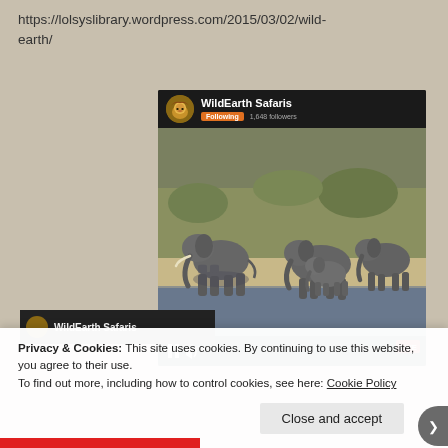https://lolsyslibrary.wordpress.com/2015/03/02/wild-earth/
[Figure (screenshot): Screenshot of WildEarth Safaris live video stream on social media platform, showing elephants (adults and a baby) at a watering hole. The video card has a black header with lion avatar, 'WildEarth Safaris' channel name, orange 'Following' button, '1,648 followers' text, video controls at bottom with pause and sound icons, view count '398/716,473', 'SHARE' text, expand icon, and a red 'LIVE' badge.]
Privacy & Cookies: This site uses cookies. By continuing to use this website, you agree to their use.
To find out more, including how to control cookies, see here: Cookie Policy
Close and accept